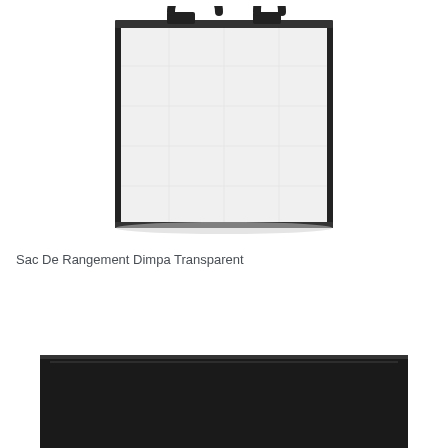[Figure (photo): A transparent storage bag (Dimpa) with black handles and black zipper trim, shown from the front. The bag is rectangular with a see-through white/clear body.]
Sac De Rangement Dimpa Transparent
[Figure (photo): A dark/black colored storage item partially visible at the bottom of the page.]